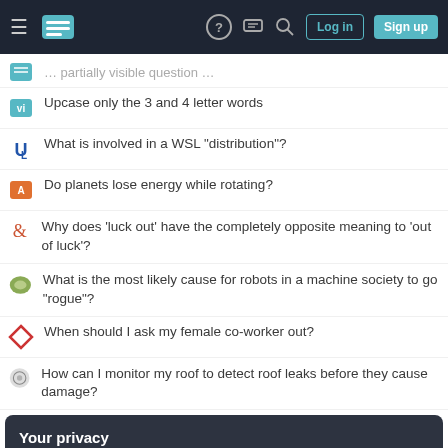Stack Exchange navigation bar with Log in and Sign up buttons
Upcase only the 3 and 4 letter words
What is involved in a WSL "distribution"?
Do planets lose energy while rotating?
Why does 'luck out' have the completely opposite meaning to 'out of luck'?
What is the most likely cause for robots in a machine society to go "rogue"?
When should I ask my female co-worker out?
How can I monitor my roof to detect roof leaks before they cause damage?
Your privacy
By clicking "Accept all cookies", you agree Stack Exchange can store cookies on your device and disclose information in accordance with our Cookie Policy.
Stream.peek() can be skipped for optimization